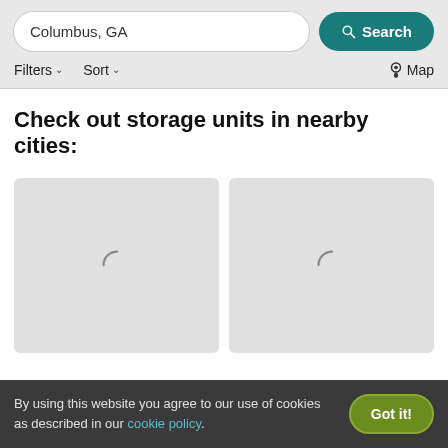Columbus, GA | Search | Filters | Sort | Map
Check out storage units in nearby cities:
[Figure (other): Two loading placeholder cards with spinner animations]
By using this website you agree to our use of cookies as described in our cookie policy. Got it!